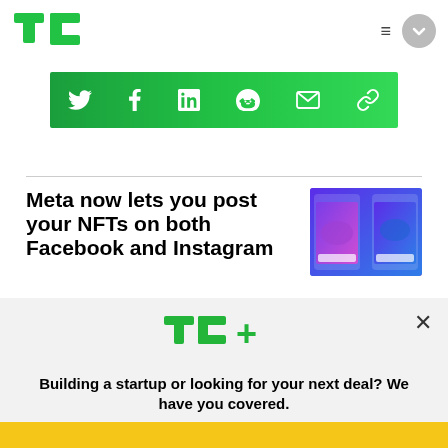[Figure (logo): TechCrunch TC logo in green]
[Figure (infographic): Social share bar with Twitter, Facebook, LinkedIn, Reddit, Email, and Link icons on green background]
Meta now lets you post your NFTs on both Facebook and Instagram
[Figure (screenshot): Thumbnail showing phone screenshots of Instagram NFT feature with blue/purple background]
[Figure (logo): TC+ logo in green]
Building a startup or looking for your next deal? We have you covered.
[Figure (other): EXPLORE NOW yellow button]